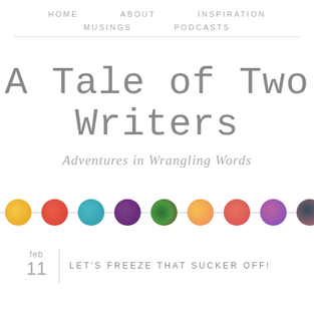HOME   ABOUT   INSPIRATION   MUSINGS   PODCASTS
A Tale of Two Writers
Adventures in Wrangling Words
[Figure (illustration): A horizontal strip of colorful watercolor circle/dot shapes in orange, red, teal, purple, green, yellow-orange, salmon, pink-purple, dark teal-pink, and gold, connected by a thin gray line.]
feb 11   LET'S FREEZE THAT SUCKER OFF!